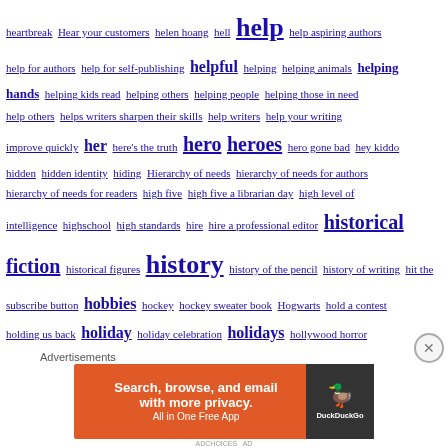heartbreak Hear your customers helen hoang hell help help aspiring authors help for authors help for self-publishing helpful helping helping animals helping hands helping kids read helping others helping people helping those in need help others helps writers sharpen their skills help writers help your writing improve quickly her here's the truth hero heroes hero gone bad hey kiddo hidden hidden identity hiding Hierarchy of needs hierarchy of needs for authors hierarchy of needs for readers high five high five a librarian day high level of intelligence highschool high standards hire hire a professional editor historical fiction historical figures history history of the pencil history of writing hit the subscribe button hobbies hockey hockey sweater book Hogwarts hold a contest holding us back holiday holiday celebration holidays hollywood horror homeward bound homework honest honour the lives of your characters hook hook and brief description of your book hootsuite hope hope for the best hope to see you soon horizontal horrifying horror horseback horseback riding hospital hosting a book club hour early hour late House house image HOUSE method house photo how how animals changed your life how authors can be
[Figure (other): Advertisement banner for DuckDuckGo: 'Search, browse, and email with more privacy. All in One Free App' with DuckDuckGo logo on orange and dark background.]